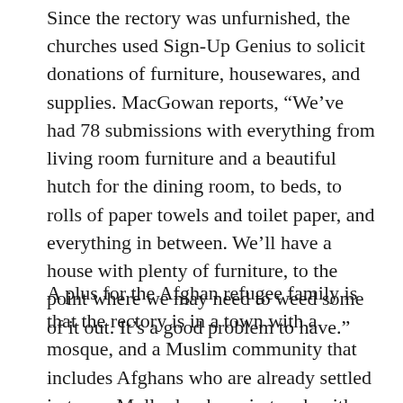Since the rectory was unfurnished, the churches used Sign-Up Genius to solicit donations of furniture, housewares, and supplies. MacGowan reports, “We’ve had 78 submissions with everything from living room furniture and a beautiful hutch for the dining room, to beds, to rolls of paper towels and toilet paper, and everything in between. We’ll have a house with plenty of furniture, to the point where we may need to weed some of it out. It’s a good problem to have.”
A plus for the Afghan refugee family is that the rectory is in a town with a mosque, and a Muslim community that includes Afghans who are already settled in town. Muller has been in touch with the imam, who is excited to welcome the new family. “It means there